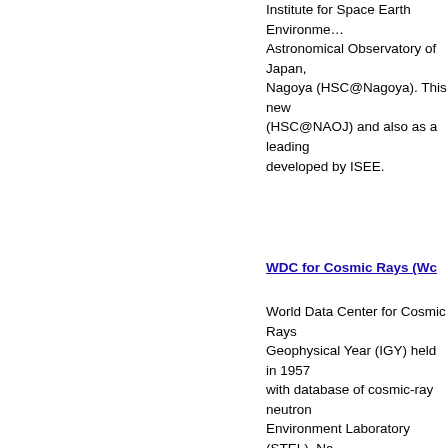Institute for Space Earth Environment... Astronomical Observatory of Japan, Nagoya (HSC@Nagoya). This new (HSC@NAOJ) and also as a leading developed by ISEE.
WDC for Cosmic Rays (Wc...
World Data Center for Cosmic Rays Geophysical Year (IGY) held in 1957 with database of cosmic-ray neutron Environment Laboratory (STEL), Na carried out through the collaboration interval from 1993 to 2009. Since Ju Research Center, STEL, Nagoya Ur